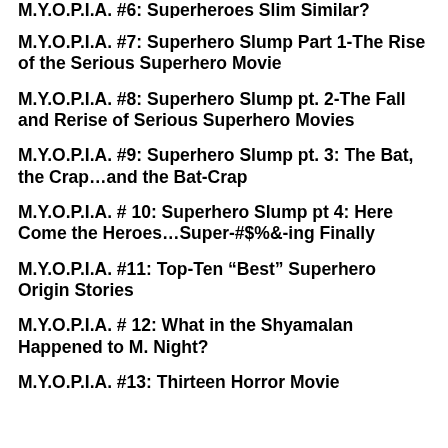M.Y.O.P.I.A. #6: Superheroes Slim Similar?
M.Y.O.P.I.A. #7: Superhero Slump Part 1-The Rise of the Serious Superhero Movie
M.Y.O.P.I.A. #8: Superhero Slump pt. 2-The Fall and Rerise of Serious Superhero Movies
M.Y.O.P.I.A. #9: Superhero Slump pt. 3: The Bat, the Crap…and the Bat-Crap
M.Y.O.P.I.A. # 10: Superhero Slump pt 4: Here Come the Heroes…Super-#$%&-ing Finally
M.Y.O.P.I.A. #11: Top-Ten “Best” Superhero Origin Stories
M.Y.O.P.I.A. # 12: What in the Shyamalan Happened to M. Night?
M.Y.O.P.I.A. #13: Thirteen Horror Movie